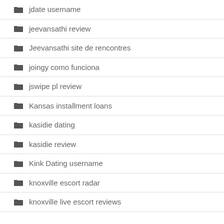jdate username
jeevansathi review
Jeevansathi site de rencontres
joingy como funciona
jswipe pl review
Kansas installment loans
kasidie dating
kasidie review
Kink Dating username
knoxville escort radar
knoxville live escort reviews